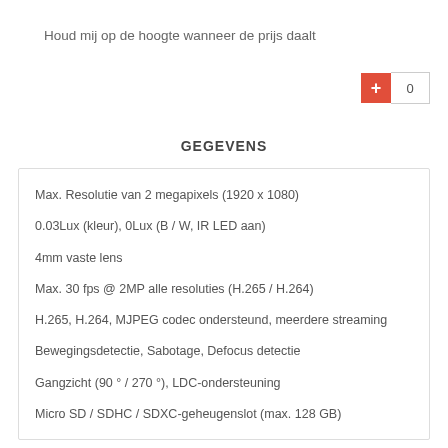Houd mij op de hoogte wanneer de prijs daalt
Max. Resolutie van 2 megapixels (1920 x 1080)
0.03Lux (kleur), 0Lux (B / W, IR LED aan)
4mm vaste lens
Max. 30 fps @ 2MP alle resoluties (H.265 / H.264)
H.265, H.264, MJPEG codec ondersteund, meerdere streaming
Bewegingsdetectie, Sabotage, Defocus detectie
Gangzicht (90 ° / 270 °), LDC-ondersteuning
Micro SD / SDHC / SDXC-geheugenslot (max. 128 GB)
IR zichtbare lengte 20m, PoE